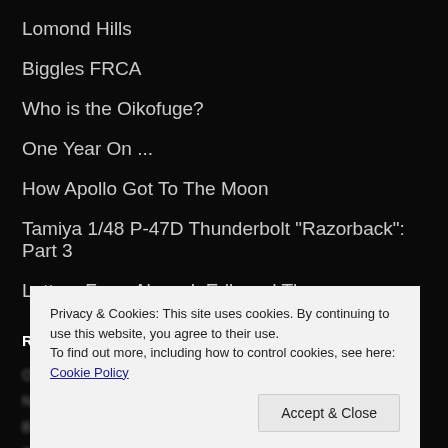Lomond Hills
Biggles FRCA
Who is the Oikofuge?
One Year On ...
How Apollo Got To The Moon
Tamiya 1/48 P-47D Thunderbolt "Razorback": Part 3
Letters From Abroad: Edh and Thorn
RECENT COMMENTS
[partially obscured comment entries]
Privacy & Cookies: This site uses cookies. By continuing to use this website, you agree to their use.
To find out more, including how to control cookies, see here: Cookie Policy
Accept & Close